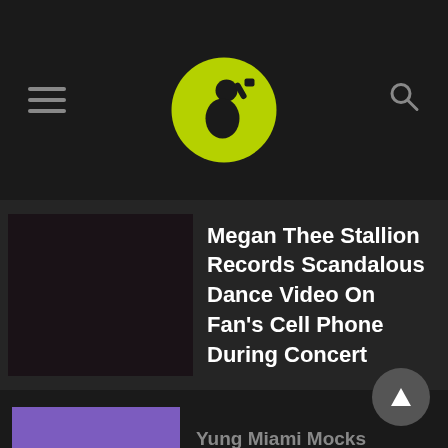Bossip mobile news header with hamburger menu, logo, and search icon
Megan Thee Stallion Records Scandalous Dance Video On Fan's Cell Phone During Concert
Yung Miami Mocks Diddy’s Dance Tutorial Video
Cops Say Marshawn Lynch Crashed Lambo 6 Months Before DUI Arrest